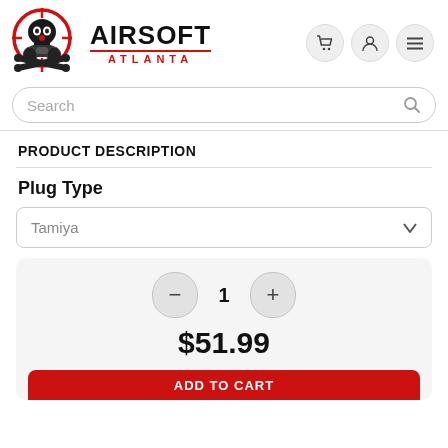[Figure (logo): Airsoft Atlanta logo with skull and crosshairs in red and black, with brand name AIRSOFT ATLANTA]
Search
PRODUCT DESCRIPTION
Plug Type
Tamiya
1
$51.99
ADD TO CART